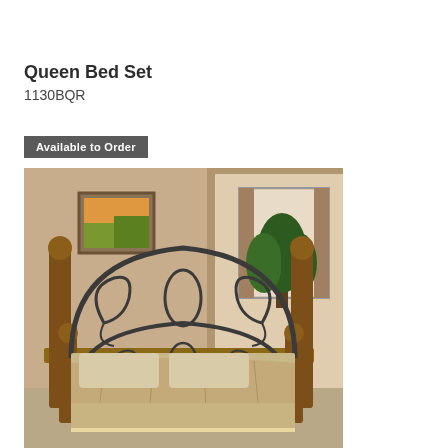Queen Bed Set
1130BQR
Available to Order
[Figure (photo): Queen bed set with decorative wrought iron headboard and footboard featuring scrollwork and leaf design, with dark cherry wood posts topped with round finials. Bed is made with beige/tan bedding and set in a warm-toned bedroom with artwork on wall and plant visible.]